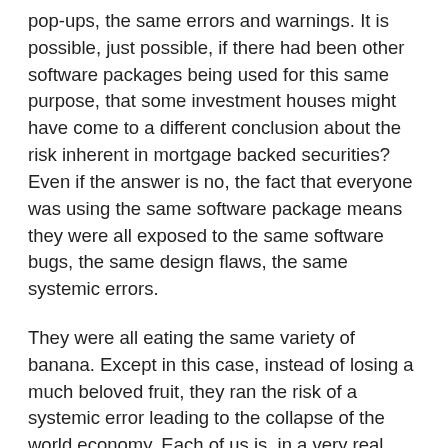pop-ups, the same errors and warnings. It is possible, just possible, if there had been other software packages being used for this same purpose, that some investment houses might have come to a different conclusion about the risk inherent in mortgage backed securities? Even if the answer is no, the fact that everyone was using the same software package means they were all exposed to the same software bugs, the same design flaws, the same systemic errors.
They were all eating the same variety of banana. Except in this case, instead of losing a much beloved fruit, they ran the risk of a systemic error leading to the collapse of the world economy. Each of us is, in a very real sense, a victim of the success of Osinski's software package.
I recently helped develop an product in which we worked very hard to make the system recoverable in the field by the end-user. If the disk-based system failed, the user could boot up a flash-based system and recover the disk. If the flash-based system failed, the user could boot up the boot loader and recover the flash-based system. If the boot loader failed, the box had to be shipped back.